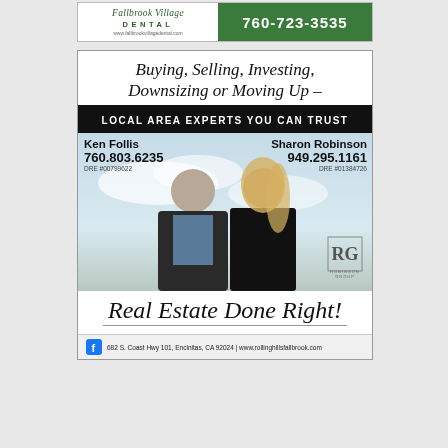[Figure (advertisement): Fallbrook Village Dental advertisement with logo on left and phone number 760-723-3535 on green background on right]
[Figure (advertisement): Real estate advertisement for Robinson Group. Headline: Buying, Selling, Investing, Downsizing or Moving Up. Black banner: LOCAL AREA EXPERTS YOU CAN TRUST. Agents: Ken Follis (760.803.6235, DRE #00799622) and Sharon Robinson (949.295.1161, DRE #01384726). Tagline: Real Estate Done Right! Address: 682 S. Coast Hwy 101, Encinitas, CA 92024 | www.rollinghillsfallbrook.com]